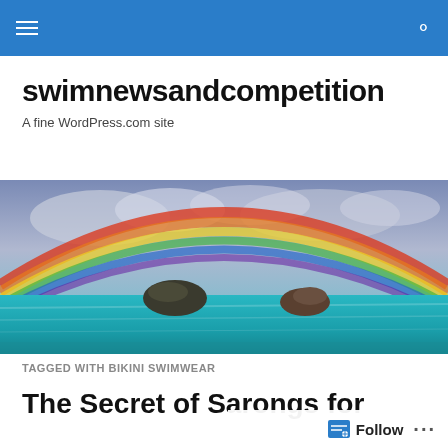swimnewsandcompetition navigation bar
swimnewsandcompetition
A fine WordPress.com site
[Figure (photo): A scenic ocean view with two small rocky islands in turquoise water and a large rainbow arching over them against a dramatic cloudy sky.]
TAGGED WITH BIKINI SWIMWEAR
The Secret of Sarongs for Women Nobody Is Dealing...